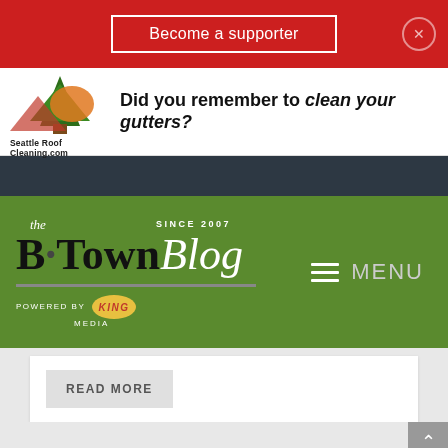Become a supporter
[Figure (logo): Seattle Roof Cleaning ad banner with tree/sun logo and text 'Did you remember to clean your gutters? SeattleRoofCleaning.com']
[Figure (logo): B-Town Blog logo on green header bar with MENU button, Since 2007, Powered by King Media]
READ MORE
[Figure (photo): Community Garden New Start badge over photo of fresh vegetables including tomatoes, cucumbers, and green peppers]
English